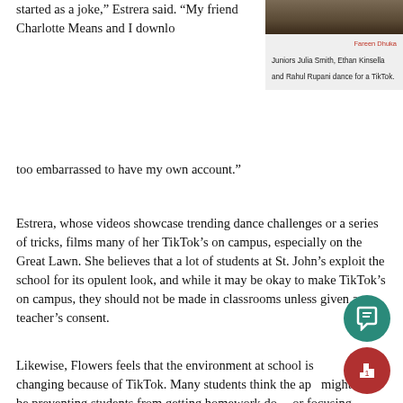[Figure (photo): Photo of students dancing for a TikTok, partially visible at top right]
Fareen Dhuka
Juniors Julia Smith, Ethan Kinsella and Rahul Rupani dance for a TikTok.
started as a joke,” Estrera said. “My friend Charlotte Means and I downloaded it together and I was too embarrassed to have my own account.”
Estrera, whose videos showcase trending dance challenges or a series of tricks, films many of her TikTok’s on campus, especially on the Great Lawn. She believes that a lot of students at St. John’s exploit the school for its opulent look, and while it may be okay to make TikTok’s on campus, they should not be made in classrooms unless given a teacher’s consent.
Likewise, Flowers feels that the environment at school is changing because of TikTok. Many students think the app might be preventing students from getting homework done or focusing in class.
“A lot of TikTok’s go viral because of the fact that they are